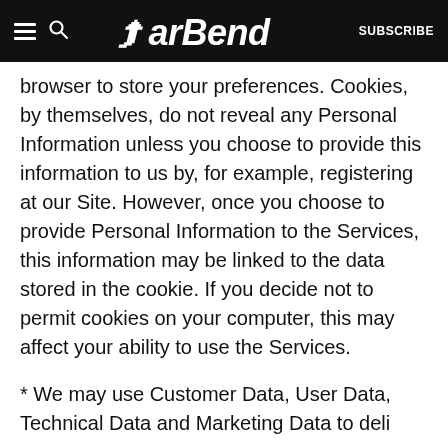BarBend | SUBSCRIBE
browser to store your preferences. Cookies, by themselves, do not reveal any Personal Information unless you choose to provide this information to us by, for example, registering at our Site. However, once you choose to provide Personal Information to the Services, this information may be linked to the data stored in the cookie. If you decide not to permit cookies on your computer, this may affect your ability to use the Services.
* We may use Customer Data, User Data, Technical Data and Marketing Data to deli...